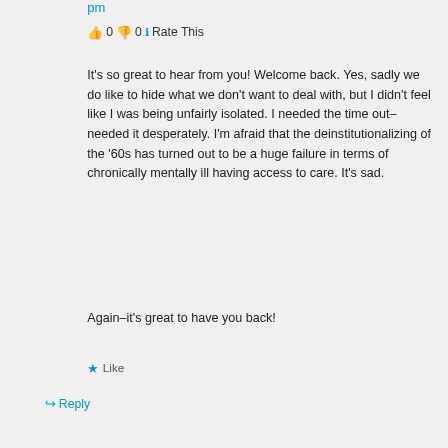pm
👍 0 👎 0 ℹ Rate This
It's so great to hear from you! Welcome back. Yes, sadly we do like to hide what we don't want to deal with, but I didn't feel like I was being unfairly isolated. I needed the time out–needed it desperately. I'm afraid that the deinstitutionalizing of the '60s has turned out to be a huge failure in terms of chronically mentally ill having access to care. It's sad.
Again–it's great to have you back!
★ Like
↪ Reply